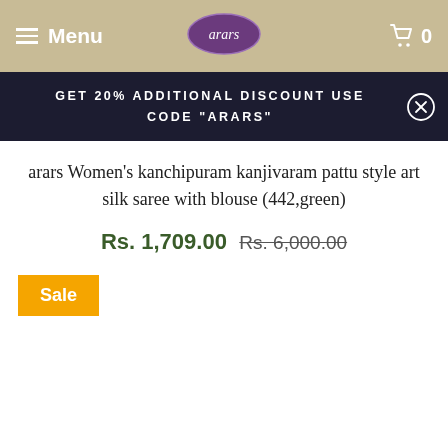Menu | arars | 0
GET 20% ADDITIONAL DISCOUNT USE CODE "ARARS"
arars Women's kanchipuram kanjivaram pattu style art silk saree with blouse (442,green)
Rs. 1,709.00 Rs. 6,000.00
Sale